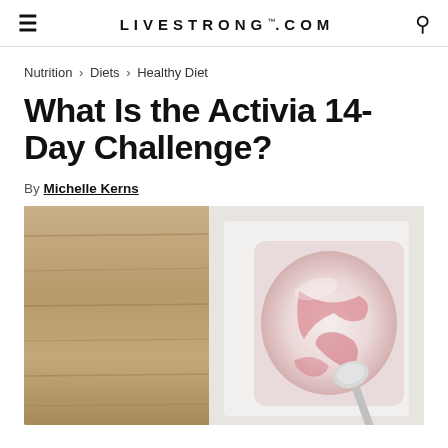LIVESTRONG.COM
Nutrition > Diets > Healthy Diet
What Is the Activia 14-Day Challenge?
By Michelle Kerns
[Figure (photo): Top-down view of an open strawberry yogurt cup with a spoon, on a white cloth over a wooden surface]